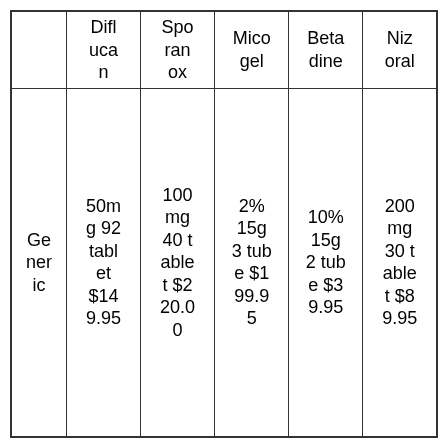|  | Diflucan | Sporanox | Micogel | Betadine | Nizoral |
| --- | --- | --- | --- | --- | --- |
| Generic | 50mg 92 g tablet $149.95 | 100 mg 40 t ablet t $220.00 | 2% 15g 3 tube $199.95 | 10% 15g 2 tube $39.95 | 200 mg 30 t able t $89.95 |